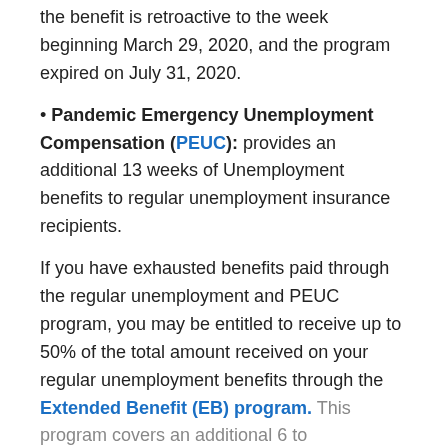the benefit is retroactive to the week beginning March 29, 2020, and the program expired on July 31, 2020.
Pandemic Emergency Unemployment Compensation (PEUC): provides an additional 13 weeks of Unemployment benefits to regular unemployment insurance recipients.
If you have exhausted benefits paid through the regular unemployment and PEUC program, you may be entitled to receive up to 50% of the total amount received on your regular unemployment benefits through the Extended Benefit (EB) program. This program covers an additional 6 to